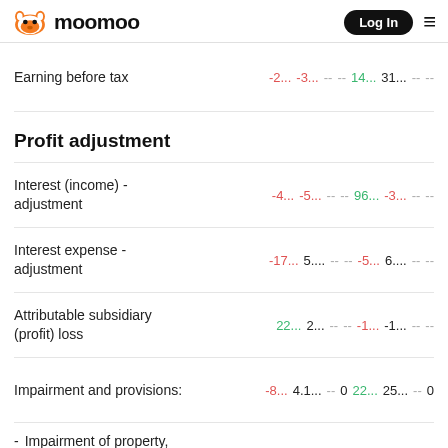moomoo  Log In
|  |  |  |  |  |  |  |  |  |
| --- | --- | --- | --- | --- | --- | --- | --- | --- |
| Earning before tax | -2... | -3... | -- | -- | 14... | 31... | -- | -- |
| Profit adjustment |  |  |  |  |  |  |  |  |
| Interest (income) - adjustment | -4... | -5... | -- | -- | 96... | -3... | -- | -- |
| Interest expense - adjustment | -17... | 5.... | -- | -- | -5... | 6.... | -- | -- |
| Attributable subsidiary (profit) loss | 22... | 2... | -- | -- | -1... | -1... | -- | -- |
| Impairment and provisions: | -8... | 4.1... | -- | 0 | 22... | 25... | -- | 0 |
| - Impairment of property, |  |  |  |  |  |  |  |  |